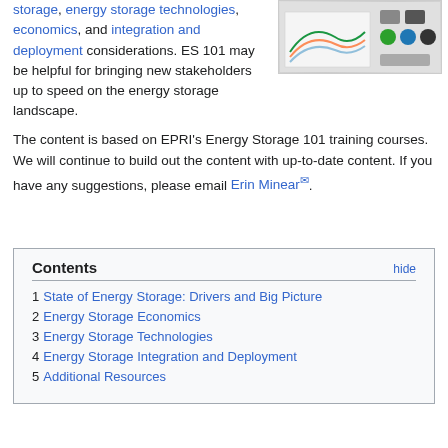storage, energy storage technologies, economics, and integration and deployment considerations. ES 101 may be helpful for bringing new stakeholders up to speed on the energy storage landscape.
[Figure (illustration): Thumbnail image showing energy storage related charts and technology icons]
The content is based on EPRI's Energy Storage 101 training courses. We will continue to build out the content with up-to-date content. If you have any suggestions, please email Erin Minear.
| Contents | hide |
| --- | --- |
| 1 State of Energy Storage: Drivers and Big Picture |
| 2 Energy Storage Economics |
| 3 Energy Storage Technologies |
| 4 Energy Storage Integration and Deployment |
| 5 Additional Resources |